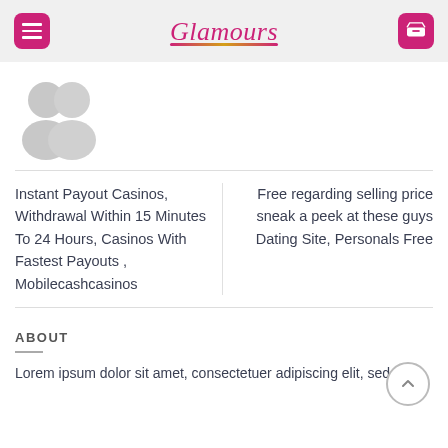Glamours — navigation header with menu and cart buttons
[Figure (illustration): Two overlapping grey default user avatar silhouettes]
Instant Payout Casinos, Withdrawal Within 15 Minutes To 24 Hours, Casinos With Fastest Payouts , Mobilecashcasinos
Free regarding selling price sneak a peek at these guys Dating Site, Personals Free
ABOUT
Lorem ipsum dolor sit amet, consectetuer adipiscing elit, sed